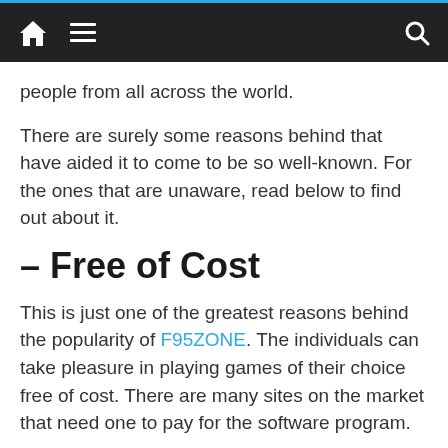Navigation bar with home icon, menu icon, and search icon
people from all across the world.
There are surely some reasons behind that have aided it to come to be so well-known. For the ones that are unaware, read below to find out about it.
– Free of Cost
This is just one of the greatest reasons behind the popularity of F95ZONE. The individuals can take pleasure in playing games of their choice free of cost. There are many sites on the market that need one to pay for the software program.
Unlike those, F95ZONE does not charge anything. Users can enjoy playing video games anytime they want.